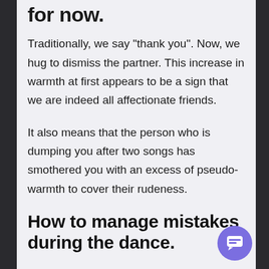for now.
Traditionally, we say “thank you”. Now, we hug to dismiss the partner. This increase in warmth at first appears to be a sign that we are indeed all affectionate friends.
It also means that the person who is dumping you after two songs has smothered you with an excess of pseudo-warmth to cover their rudeness.
How to manage mistakes during the dance.
I observed a lot of laughter at Practica El Mo…